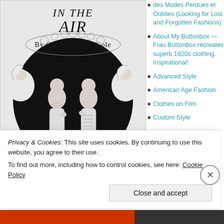[Figure (illustration): Book cover illustration for 'In the Air' by Celia Caroline Cole. Shows two elegantly dressed figures in conversation beneath a floral arch with cherubs on either side, in black and white line art style.]
des Modes Perdues et Oublies (Looking for Lost and Forgotten Fashions)
About My Buttonbox — Frau Buttonbox recreates superb 1920s clothing. Inspirational!
Advanced Style
American Age Fashion
Clothes on Film
Custom Style
Privacy & Cookies: This site uses cookies. By continuing to use this website, you agree to their use.
To find out more, including how to control cookies, see here: Cookie Policy
Close and accept